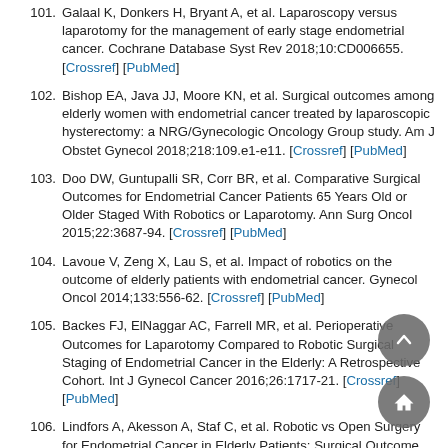101. Galaal K, Donkers H, Bryant A, et al. Laparoscopy versus laparotomy for the management of early stage endometrial cancer. Cochrane Database Syst Rev 2018;10:CD006655. [Crossref] [PubMed]
102. Bishop EA, Java JJ, Moore KN, et al. Surgical outcomes among elderly women with endometrial cancer treated by laparoscopic hysterectomy: a NRG/Gynecologic Oncology Group study. Am J Obstet Gynecol 2018;218:109.e1-e11. [Crossref] [PubMed]
103. Doo DW, Guntupalli SR, Corr BR, et al. Comparative Surgical Outcomes for Endometrial Cancer Patients 65 Years Old or Older Staged With Robotics or Laparotomy. Ann Surg Oncol 2015;22:3687-94. [Crossref] [PubMed]
104. Lavoue V, Zeng X, Lau S, et al. Impact of robotics on the outcome of elderly patients with endometrial cancer. Gynecol Oncol 2014;133:556-62. [Crossref] [PubMed]
105. Backes FJ, ElNaggar AC, Farrell MR, et al. Perioperative Outcomes for Laparotomy Compared to Robotic Surgical Staging of Endometrial Cancer in the Elderly: A Retrospective Cohort. Int J Gynecol Cancer 2016;26:1717-21. [Crossref] [PubMed]
106. Lindfors A, Akesson A, Staf C, et al. Robotic vs Open Surgery for Endometrial Cancer in Elderly Patients: Surgical Outcome, Survival, and Cost Analysis. Int J Gynecol Cancer 2018;28:502-9. [Crossref] [PubMed]
107. Scribner DR Jr, Walker JL, Johnson GA, et al. Surgical